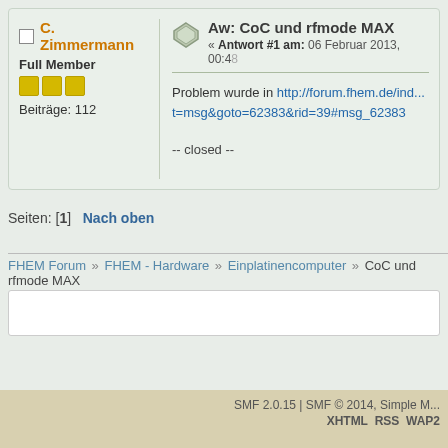C. Zimmermann
Full Member
Beiträge: 112
Aw: CoC und rfmode MAX
« Antwort #1 am: 06 Februar 2013, 00:48
Problem wurde in http://forum.fhem.de/ind... t=msg&goto=62383&rid=39#msg_62383
-- closed --
Seiten: [1]   Nach oben
FHEM Forum » FHEM - Hardware » Einplatinencomputer » CoC und rfmode MAX
SMF 2.0.15 | SMF © 2014, Simple M... XHTML RSS WAP2